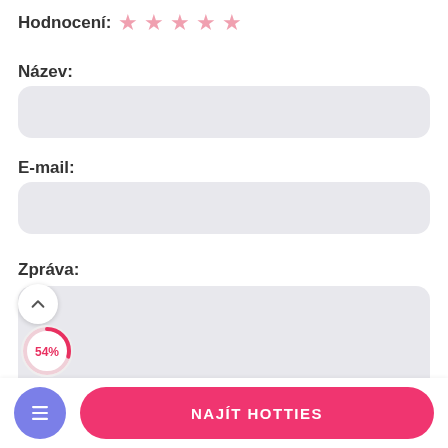Hodnocení: ★★★★★
Název:
[Figure (other): Empty text input field with rounded corners for Název (Name)]
E-mail:
[Figure (other): Empty text input field with rounded corners for E-mail]
Zpráva:
[Figure (other): Scroll-up button (chevron up) and 54% donut progress indicator circle overlaying large textarea input field for Zpráva (Message)]
NAJÍT HOTTIES
[Figure (other): Blue circular menu/document icon button and pink rounded 'NAJÍT HOTTIES' call-to-action button in bottom navigation bar]